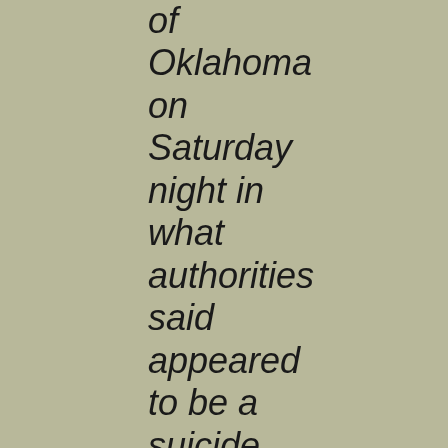of Oklahoma on Saturday night in what authorities said appeared to be a suicide. ADVERTISEMENT The blast, in a traffic circle about 100 yards from